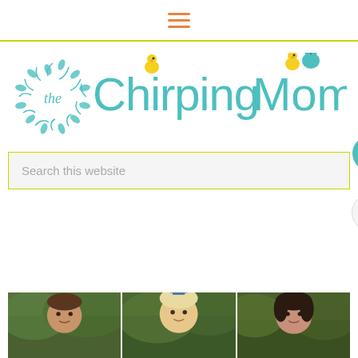Navigation menu bar with hamburger icon
[Figure (logo): The Chirping Moms logo: circular wreath with 'the' script inside, followed by 'Chirping Moms' in teal with yellow chick illustrations]
[Figure (other): Search bar with placeholder text 'Search this website', yellow-green border, with a teal heart button (liked: 1) and share button on the right side]
[Figure (photo): Three children portrait photos side by side at the bottom of the page, against green foliage backgrounds]